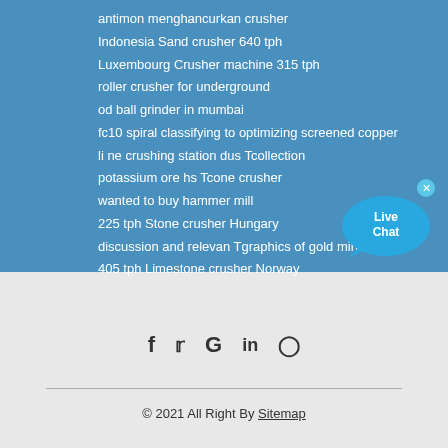antimon menghancurkan crusher
Indonesia Sand crusher 640 tph
Luxembourg Crusher machine 315 tph
roller crusher for underground
od ball grinder in mumbai
fc10 spiral classifying to optimizing screened copper
li ne crushing station dus Tcollection
potassium ore hs Tcone crusher
wanted to buy hammer mill
225 tph Stone crusher Hungary
discussion and relevan Tgraphics of gold mining
405 tph Limestone crusher Norway
[Figure (illustration): Live Chat button - a blue speech bubble with 'Live Chat' text and an X close button]
[Figure (infographic): Social media icons: Facebook (f), Twitter (bird/y), Google (G), LinkedIn (in), Instagram (camera)]
© 2021 All Right By Sitemap